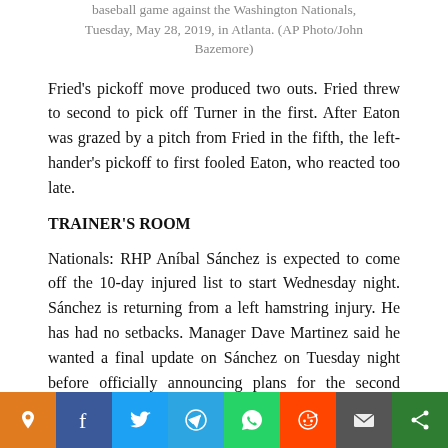baseball game against the Washington Nationals, Tuesday, May 28, 2019, in Atlanta. (AP Photo/John Bazemore)
Fried's pickoff move produced two outs. Fried threw to second to pick off Turner in the first. After Eaton was grazed by a pitch from Fried in the fifth, the left-hander's pickoff to first fooled Eaton, who reacted too late.
TRAINER'S ROOM
Nationals: RHP Aníbal Sánchez is expected to come off the 10-day injured list to start Wednesday night. Sánchez is returning from a left hamstring injury. He has had no setbacks. Manager Dave Martinez said he wanted a final update on Sánchez on Tuesday night before officially announcing plans for the second game of the series.
[Figure (other): Social sharing bar with icons for an unnamed service, Facebook, Twitter, Telegram, WhatsApp, Reddit, Email, and a generic share button]